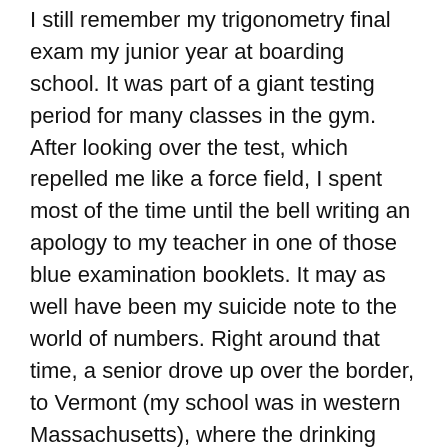I still remember my trigonometry final exam my junior year at boarding school. It was part of a giant testing period for many classes in the gym. After looking over the test, which repelled me like a force field, I spent most of the time until the bell writing an apology to my teacher in one of those blue examination booklets. It may as well have been my suicide note to the world of numbers. Right around that time, a senior drove up over the border, to Vermont (my school was in western Massachusetts), where the drinking age was still 18, and bought so many bottles of booze that when he got back we spread them out on a kid's bed and took a picture of them. So many bottles you couldn't even count them all. The giddiness was palpable. We were about to blast all the numbers clean out of our heads.
III.
So was there some weird warp in history that spit out over